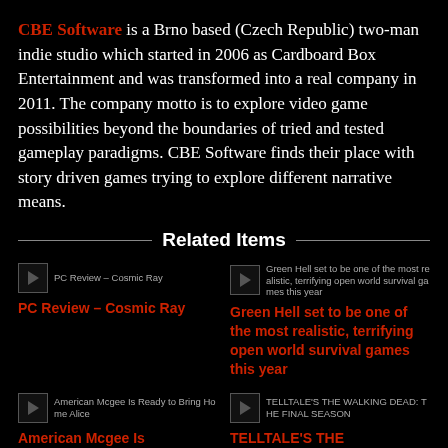CBE Software is a Brno based (Czech Republic) two-man indie studio which started in 2006 as Cardboard Box Entertainment and was transformed into a real company in 2011. The company motto is to explore video game possibilities beyond the boundaries of tried and tested gameplay paradigms. CBE Software finds their place with story driven games trying to explore different narrative means.
Related Items
[Figure (photo): Thumbnail image for PC Review – Cosmic Ray]
PC Review – Cosmic Ray
[Figure (photo): Thumbnail image for Green Hell set to be one of the most realistic, terrifying open world survival games this year]
Green Hell set to be one of the most realistic, terrifying open world survival games this year
[Figure (photo): Thumbnail image for American Mcgee Is Ready to Bring Home Alice]
American Mcgee Is Ready to Bring Home Alice
[Figure (photo): Thumbnail image for TELLTALE'S THE WALKING DEAD: THE FINAL SEASON]
TELLTALE'S THE WALKING DEAD: THE FINAL SEASON